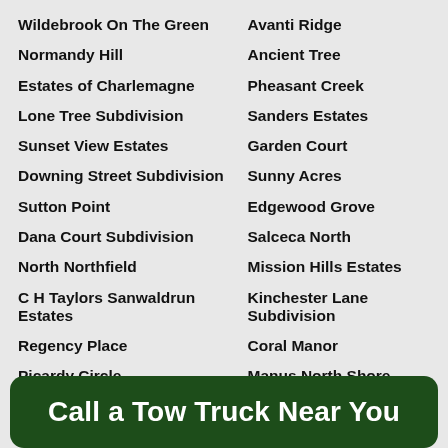Wildebrook On The Green
Normandy Hill
Estates of Charlemagne
Lone Tree Subdivision
Sunset View Estates
Downing Street Subdivision
Sutton Point
Dana Court Subdivision
North Northfield
C H Taylors Sanwaldrun Estates
Regency Place
Picardy Circle
Avanti Ridge
Ancient Tree
Pheasant Creek
Sanders Estates
Garden Court
Sunny Acres
Edgewood Grove
Salceca North
Mission Hills Estates
Kinchester Lane Subdivision
Coral Manor
Manus North Shore Estates
Woodlands
Call a Tow Truck Near You